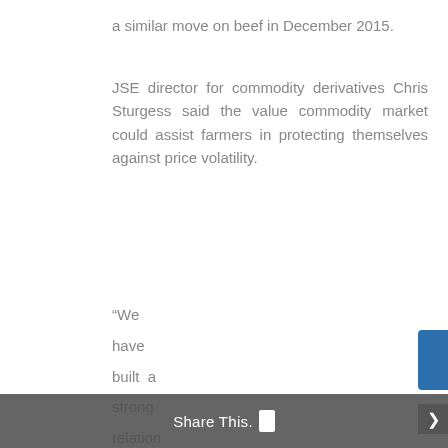a similar move on beef in December 2015.
JSE director for commodity derivatives Chris Sturgess said the value commodity market could assist farmers in protecting themselves against price volatility.
“We have built a strong relation ship with the agricultural community and are privileged to now be able to respond to the needs of the livestock sector in managing their price risks.”
The price of lamb has always been driven by consumer sentiment with mutton Share This. the most expensive